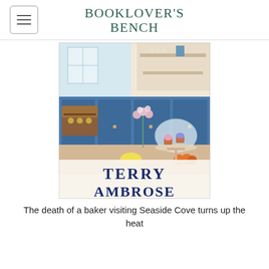BOOKLOVER'S BENCH
[Figure (photo): Book cover for a Terry Ambrose novel showing a bakery kitchen scene with blue cabinets, a wooden chest open with gold coins, flowers, cupcakes under a glass dome, and baking tools on a countertop. The author name TERRY AMBROSE is displayed prominently at the bottom of the cover.]
The death of a baker visiting Seaside Cove turns up the heat